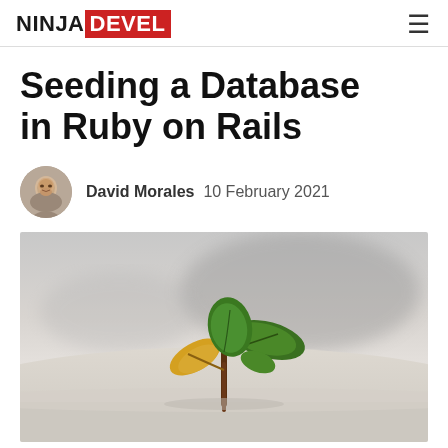NINJA DEVEL
Seeding a Database in Ruby on Rails
David Morales  10 February 2021
[Figure (photo): Close-up photo of a small green seedling sprouting from sandy/white soil, with blurred grey background]